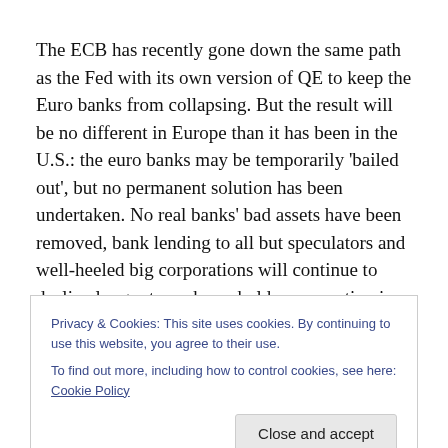The ECB has recently gone down the same path as the Fed with its own version of QE to keep the Euro banks from collapsing. But the result will be no different in Europe than it has been in the U.S.: the euro banks may be temporarily 'bailed out', but no permanent solution has been undertaken. No real banks' bad assets have been removed, bank lending to all but speculators and well-heeled big corporations will continue to decline longer term, household consumption in Europe will continue to
Privacy & Cookies: This site uses cookies. By continuing to use this website, you agree to their use.
To find out more, including how to control cookies, see here: Cookie Policy
economy worse.